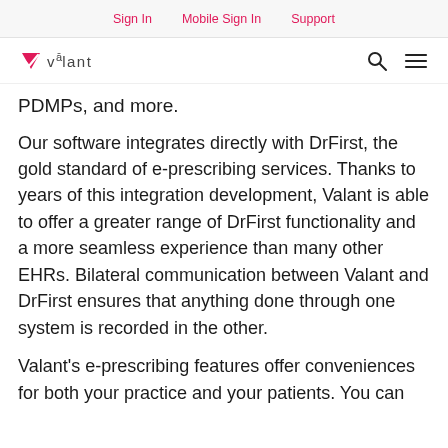Sign In   Mobile Sign In   Support
[Figure (logo): Valant logo with pink checkmark and text 'valant', plus search and menu icons on the right]
PDMPs, and more.
Our software integrates directly with DrFirst, the gold standard of e-prescribing services. Thanks to years of this integration development, Valant is able to offer a greater range of DrFirst functionality and a more seamless experience than many other EHRs. Bilateral communication between Valant and DrFirst ensures that anything done through one system is recorded in the other.
Valant's e-prescribing features offer conveniences for both your practice and your patients. You can